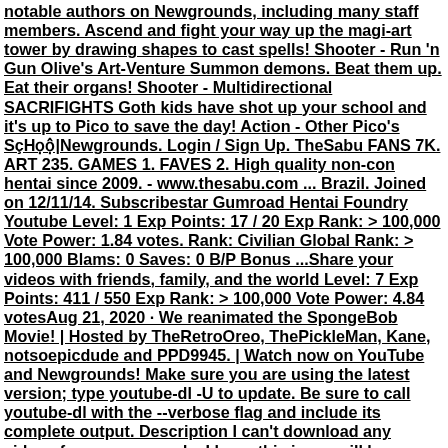notable authors on Newgrounds, including many staff members. Ascend and fight your way up the magi-art tower by drawing shapes to cast spells! Shooter - Run 'n Gun Olive's Art-Venture Summon demons. Beat them up. Eat their organs! Shooter - Multidirectional SACRIFIGHTS Goth kids have shot up your school and it's up to Pico to save the day! Action - Other Pico's SçȞọộ|Newgrounds. Login / Sign Up. TheSabu FANS 7K. ART 235. GAMES 1. FAVES 2. High quality non-con hentai since 2009. - www.thesabu.com ... Brazil. Joined on 12/11/14. Subscribestar Gumroad Hentai Foundry Youtube Level: 1 Exp Points: 17 / 20 Exp Rank: > 100,000 Vote Power: 1.84 votes. Rank: Civilian Global Rank: > 100,000 Blams: 0 Saves: 0 B/P Bonus ...Share your videos with friends, family, and the world Level: 7 Exp Points: 411 / 550 Exp Rank: > 100,000 Vote Power: 4.84 votesAug 21, 2020 · We reanimated the SpongeBob Movie! | Hosted by TheRetroOreo, ThePickleMan, Kane, notsoepicdude and PPD9945. | Watch now on YouTube and Newgrounds! Make sure you are using the latest version; type youtube-dl -U to update. Be sure to call youtube-dl with the --verbose flag and include its complete output. Description I can't download any videos from newgrounds. I hope this issue will be resolved. Thank you for the work you do. october262 commented on Dec 12, 2020 • editedMy Youtube Level: 7 Exp Points: 448 / 550 Exp Rank: > 100,000 Vote Power: ... 56 Newgrounds artists work together to collaboratively celebrate 20 years of Newgrounds! Response to